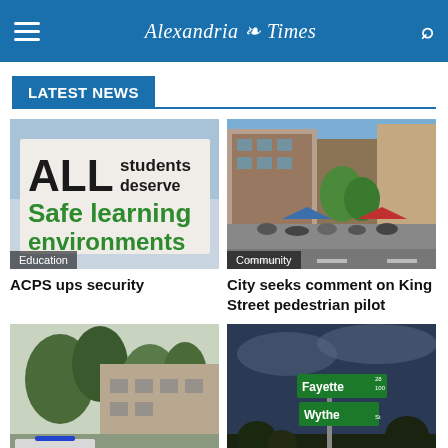Alexandria Times
LATEST NEWS
[Figure (photo): Person holding a sign reading ALL students deserve Safe Learning environments]
Education
ACPS ups security
[Figure (photo): Street scene with pedestrians and booths on King Street]
Community
City seeks comment on King Street pedestrian pilot
[Figure (photo): Police car parked near a building with trees]
[Figure (photo): Street sign showing Fayette and Wythe intersection at night]